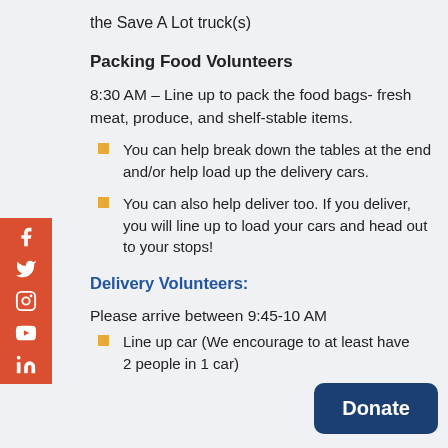the Save A Lot truck(s)
Packing Food Volunteers
8:30 AM – Line up to pack the food bags- fresh meat, produce, and shelf-stable items.
You can help break down the tables at the end and/or help load up the delivery cars.
You can also help deliver too. If you deliver, you will line up to load your cars and head out to your stops!
Delivery Volunteers:
Please arrive between 9:45-10 AM
Line up car (We encourage to at least have 2 people in 1 car)